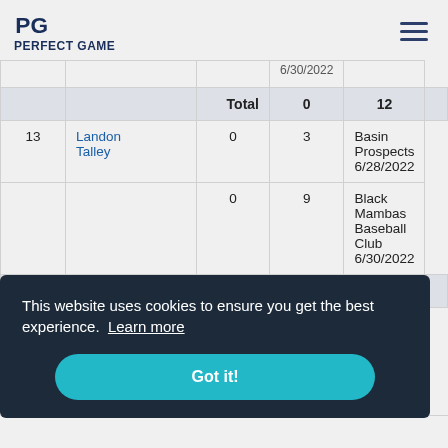PERFECT GAME
| # | Name | 0 | 12 |  |
| --- | --- | --- | --- | --- |
|  |  | Total | 0 | 12 |  |
| 13 | Landon Talley | 0 | 3 | Basin Prospects 6/28/2022 |
|  |  | 0 | 9 | Black Mambas Baseball Club 6/30/2022 |
|  |  | Total | 0 | 12 |  |
This website uses cookies to ensure you get the best experience. Learn more
Got it!